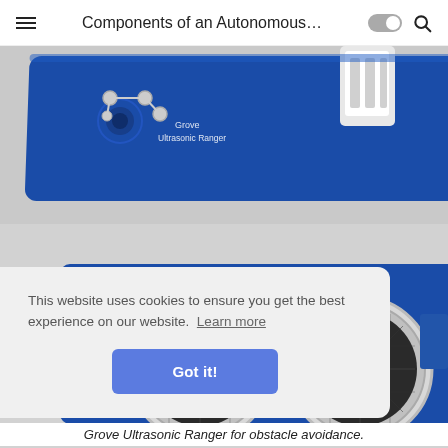Components of an Autonomous...
[Figure (photo): Top-down view of a Grove Ultrasonic Ranger circuit board showing the board from above with a white connector attached, blue PCB with Grove Ultrasonic Ranger label visible]
[Figure (photo): Front view of a Grove Ultrasonic Ranger showing two large circular ultrasonic transducers (transmitter T and receiver R) on a blue circuit board]
This website uses cookies to ensure you get the best experience on our website. Learn more
Got it!
Grove Ultrasonic Ranger for obstacle avoidance.